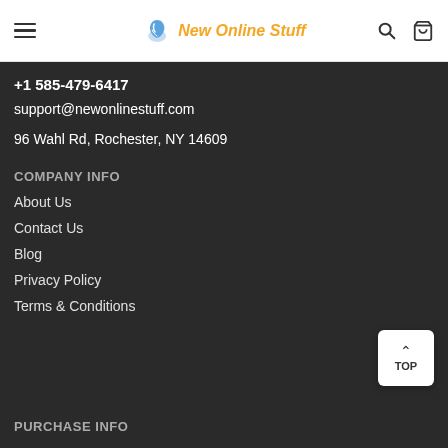New Online Stuff — navigation header with hamburger menu, logo, search and cart icons
+1 585-479-6417
support@newonlinestuff.com
96 Wahl Rd, Rochester, NY 14609
COMPANY INFO
About Us
Contact Us
Blog
Privacy Policy
Terms & Conditions
PURCHASE INFO